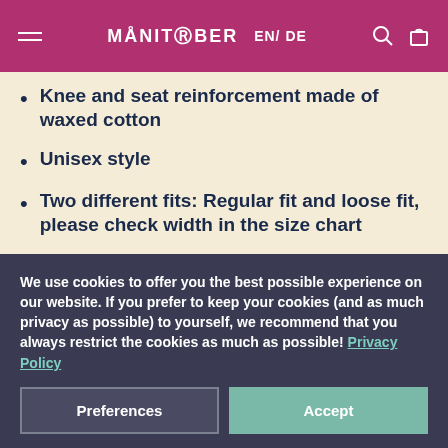MANITOBER EN/ DE
Knee and seat reinforcement made of waxed cotton
Unisex style
Two different fits: Regular fit and loose fit, please check width in the size chart
We use cookies to offer you the best possible experience on our website. If you prefer to keep your cookies (and as much privacy as possible) to yourself, we recommend that you always restrict the cookies as much as possible! Privacy Policy